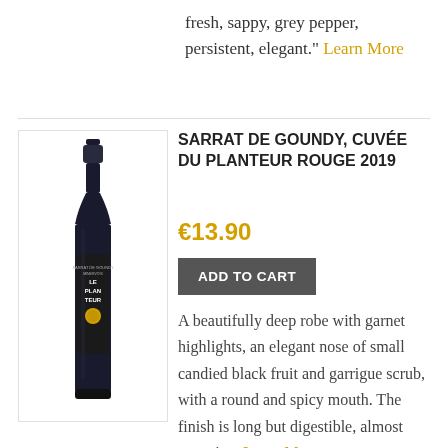fresh, sappy, grey pepper, persistent, elegant." Learn More
[Figure (photo): Wine bottle with dark label reading LE PLAN TEUR with a gold circular logo]
SARRAT DE GOUNDY, CUVÉE DU PLANTEUR ROUGE 2019
€13.90
ADD TO CART
A beautifully deep robe with garnet highlights, an elegant nose of small candied black fruit and garrigue scrub, with a round and spicy mouth. The finish is long but digestible, almost sanguine. Learn More